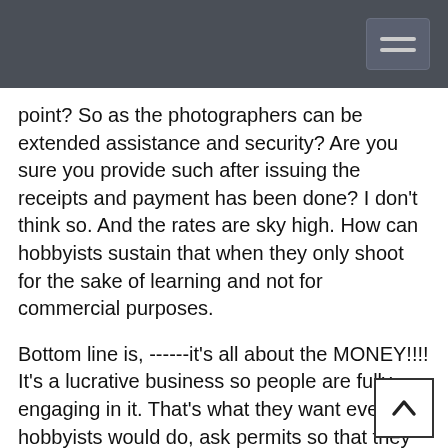point? So as the photographers can be extended assistance and security? Are you sure you provide such after issuing the receipts and payment has been done? I don't think so. And the rates are sky high. How can hobbyists sustain that when they only shoot for the sake of learning and not for commercial purposes.
Bottom line is, ------it's all about the MONEY!!!! It's a lucrative business so people are fully engaging in it. That's what they want even the hobbyists would do, ask permits so that they could earn from us. Sana pag hobbyist and di naman pang commercial shoot wag nang permit permit at bayad bayad na.